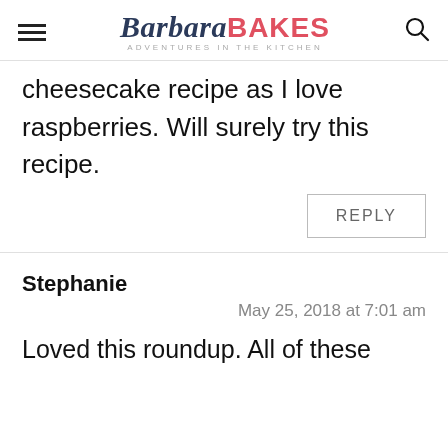Barbara BAKES — Adventures in the Kitchen
cheesecake recipe as I love raspberries. Will surely try this recipe.
REPLY
Stephanie
May 25, 2018 at 7:01 am
Loved this roundup. All of these